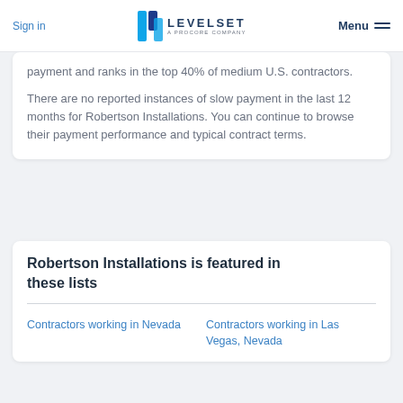Sign in | LEVELSET A PROCORE COMPANY | Menu
payment and ranks in the top 40% of medium U.S. contractors.
There are no reported instances of slow payment in the last 12 months for Robertson Installations. You can continue to browse their payment performance and typical contract terms.
Robertson Installations is featured in these lists
Contractors working in Nevada
Contractors working in Las Vegas, Nevada